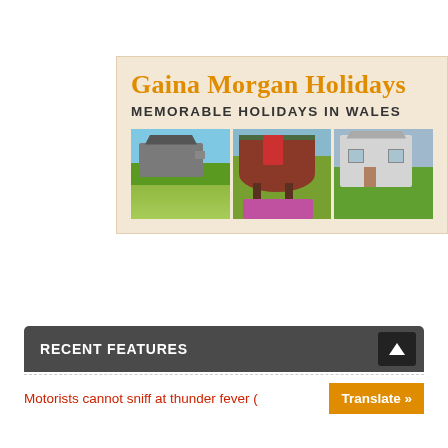[Figure (illustration): Gaina Morgan Holidays banner with orange serif title, bold uppercase subtitle 'MEMORABLE HOLIDAYS IN WALES', and a strip of three holiday property photos: a stone cottage with green field, a traditional gypsy caravan, and a white modern house.]
RECENT FEATURES
Motorists cannot sniff at thunder fever (
Translate »